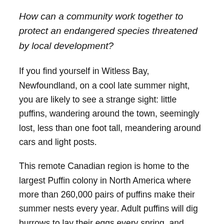How can a community work together to protect an endangered species threatened by local development?
If you find yourself in Witless Bay, Newfoundland, on a cool late summer night, you are likely to see a strange sight: little puffins, wandering around the town, seemingly lost, less than one foot tall, meandering around cars and light posts.
This remote Canadian region is home to the largest Puffin colony in North America where more than 260,000 pairs of puffins make their summer nests every year. Adult puffins will dig burrows to lay their eggs every spring, and starting in August, fledglings will leave the nests and start making their way out to sea for winter foraging. To avoid predators, the puffins fledge at night and navigate using the light of the moon and stars on the horizon. However